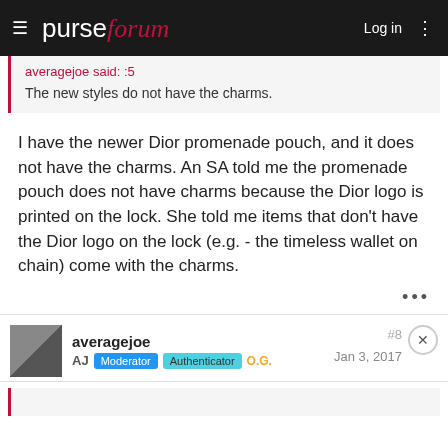purseforum | Log in
averagejoe said: :5
The new styles do not have the charms.
I have the newer Dior promenade pouch, and it does not have the charms. An SA told me the promenade pouch does not have charms because the Dior logo is printed on the lock. She told me items that don't have the Dior logo on the lock (e.g. - the timeless wallet on chain) come with the charms.
averagejoe
AJ  Moderator  Authenticator  O.G.
Jan 3, 2017
#8